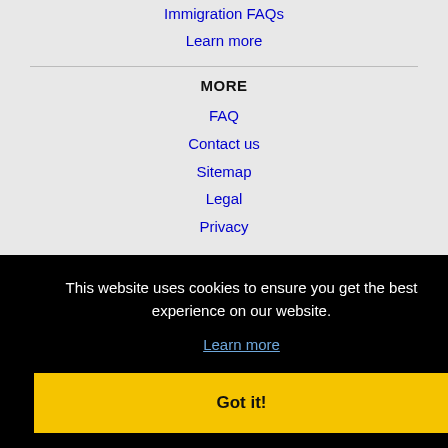Immigration FAQs
Learn more
MORE
FAQ
Contact us
Sitemap
Legal
Privacy
This website uses cookies to ensure you get the best experience on our website.
Learn more
Got it!
Buffalo Grove, IL Jobs